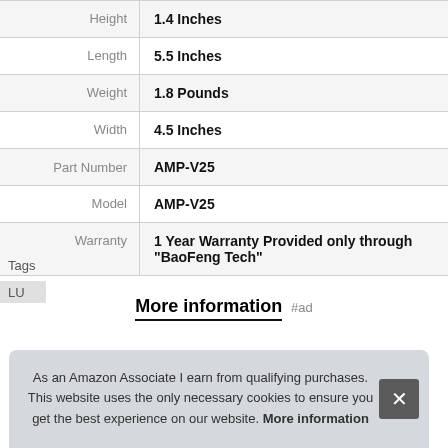|  |  |
| --- | --- |
| Height | 1.4 Inches |
| Length | 5.5 Inches |
| Weight | 1.8 Pounds |
| Width | 4.5 Inches |
| Part Number | AMP-V25 |
| Model | AMP-V25 |
| Warranty | 1 Year Warranty Provided only through "BaoFeng Tech" |
More information #ad
As an Amazon Associate I earn from qualifying purchases. This website uses the only necessary cookies to ensure you get the best experience on our website. More information